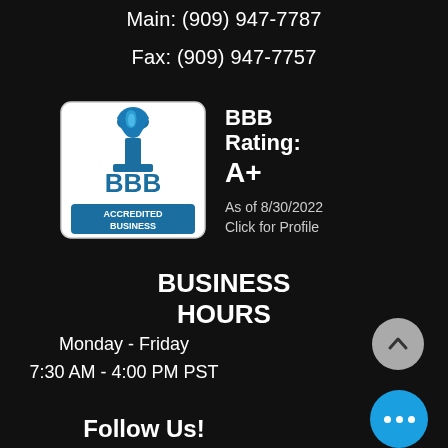Main: (909) 947-7787
Fax: (909) 947-7757
[Figure (logo): BBB Accredited Business badge with torch logo and blue accreditation banner]
BBB Rating: A+
As of 8/30/2022
Click for Profile
BUSINESS HOURS
Monday - Friday
7:30 AM - 4:00 PM PST
Follow Us!